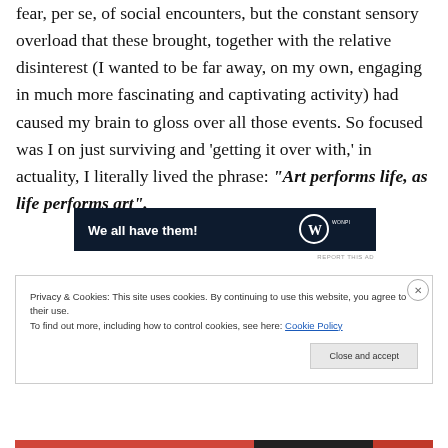fear, per se, of social encounters, but the constant sensory overload that these brought, together with the relative disinterest (I wanted to be far away, on my own, engaging in much more fascinating and captivating activity) had caused my brain to gloss over all those events. So focused was I on just surviving and 'getting it over with,' in actuality, I literally lived the phrase: "Art performs life, as life performs art".
[Figure (other): Advertisement banner with dark navy background reading 'We all have them!' with a W logo and WONPI branding]
Privacy & Cookies: This site uses cookies. By continuing to use this website, you agree to their use.
To find out more, including how to control cookies, see here: Cookie Policy
Close and accept